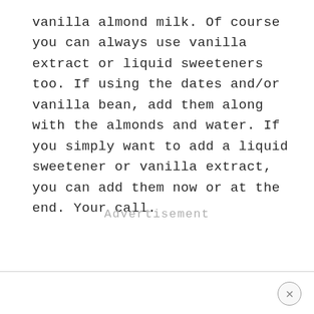vanilla almond milk. Of course you can always use vanilla extract or liquid sweeteners too. If using the dates and/or vanilla bean, add them along with the almonds and water. If you simply want to add a liquid sweetener or vanilla extract, you can add them now or at the end. Your call.
Advertisement